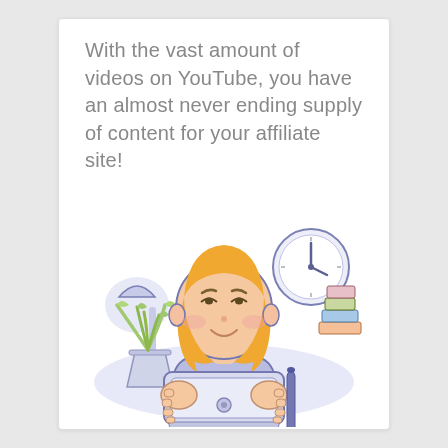With the vast amount of videos on YouTube, you have an almost never ending supply of content for your affiliate site!
[Figure (illustration): A cartoon illustration of a smiling woman with blonde bob hair holding a tablet/laptop, surrounded by a desk lamp, a clock, a potted plant, and a stack of books in the background, in a flat line-art style with soft purple, peach, and green colors.]